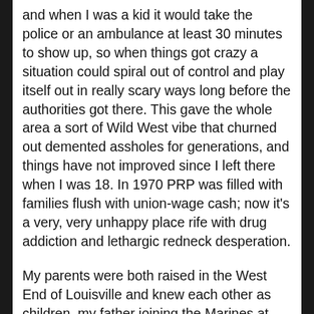and when I was a kid it would take the police or an ambulance at least 30 minutes to show up, so when things got crazy a situation could spiral out of control and play itself out in really scary ways long before the authorities got there. This gave the whole area a sort of Wild West vibe that churned out demented assholes for generations, and things have not improved since I left there when I was 18. In 1970 PRP was filled with families flush with union-wage cash; now it's a very, very unhappy place rife with drug addiction and lethargic redneck desperation.
My parents were both raised in the West End of Louisville and knew each other as children, my father joining the Marines at age 17 (probably lying about his age) and my mother was married with her first child by the time she was 16. As my mother's first marriage began to unravel, I suppose my father heard about it and suggested she move to Los Angeles where he was stationed and they were married there. She did not want to leave Louisville and